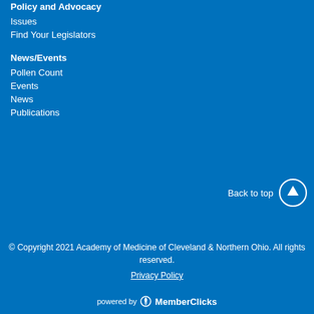Policy and Advocacy
Issues
Find Your Legislators
News/Events
Pollen Count
Events
News
Publications
Back to top
© Copyright 2021 Academy of Medicine of Cleveland & Northern Ohio.  All rights reserved.
Privacy Policy
powered by MemberClicks